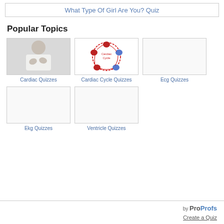What Type Of Girl Are You? Quiz
Popular Topics
[Figure (photo): Photo of person in white shirt clutching chest, representing Cardiac Quizzes]
Cardiac Quizzes
[Figure (illustration): Circular diagram showing cardiac cycle with heart illustrations, representing Cardiac Cycle Quizzes]
Cardiac Cycle Quizzes
[Figure (other): Blank placeholder image for Ecg Quizzes]
Ecg Quizzes
[Figure (other): Blank placeholder image for Ekg Quizzes]
Ekg Quizzes
[Figure (other): Blank placeholder image for Ventricle Quizzes]
Ventricle Quizzes
by ProProfs Create a Quiz